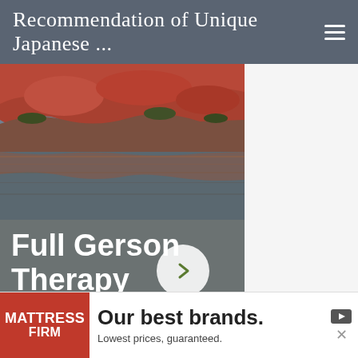Recommendation of Unique Japanese ...
[Figure (photo): Rocky red stone landscape with reflective water, Sedona wellness retreat scenery]
Full Gerson Therapy
Sedona Wellness Retreat
[Figure (photo): Two bottom row cards: left shows 'I got it at Costco' with person silhouette, right shows knife block set with vegetables]
Privacy & Cookies: This site uses cookies. By continuing to use this website, you agree to their use.
To find out more, including how to control cookies, see here: Cookie Policy
[Figure (photo): Advertisement banner for Mattress Firm: 'Our best brands. Lowest prices, guaranteed.']